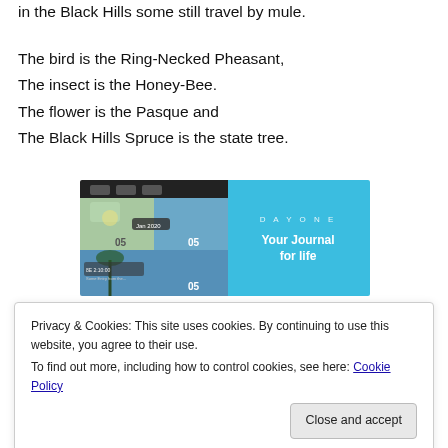in the Black Hills some still travel by mule.
The bird is the Ring-Necked Pheasant,
The insect is the Honey-Bee.
The flower is the Pasque and
The Black Hills Spruce is the state tree.
[Figure (screenshot): DayOne app screenshot showing photo journal interface on left and 'DAYONE Your Journal for life' branding on right with blue background]
Privacy & Cookies: This site uses cookies. By continuing to use this website, you agree to their use.
To find out more, including how to control cookies, see here: Cookie Policy
Close and accept